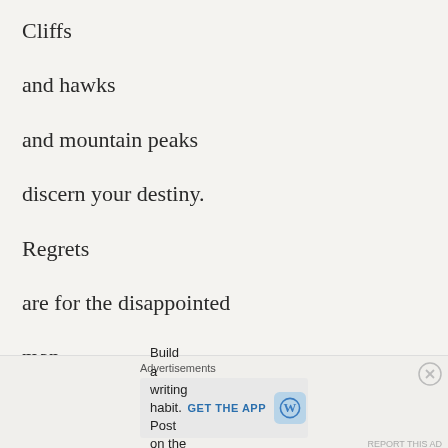Cliffs
and hawks
and mountain peaks
discern your destiny.
Regrets
are for the disappointed
man
Advertisements
Build a writing habit. Post on the go.
GET THE APP